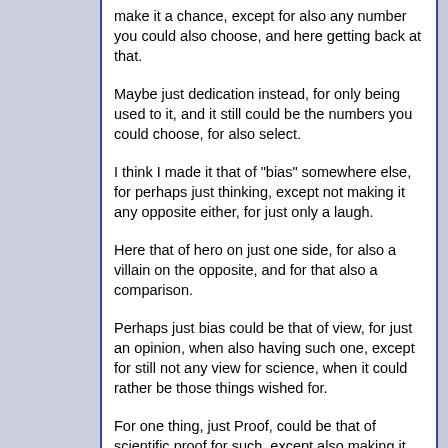make it a chance, except for also any number you could also choose, and here getting back at that.
Maybe just dedication instead, for only being used to it, and it still could be the numbers you could choose, for also select.
I think I made it that of "bias" somewhere else, for perhaps just thinking, except not making it any opposite either, for just only a laugh.
Here that of hero on just one side, for also a villain on the opposite, and for that also a comparison.
Perhaps just bias could be that of view, for just an opinion, when also having such one, except for still not any view for science, when it could rather be those things wished for.
For one thing, just Proof, could be that of scientific proof for such, except also making it "Poor Man's science" as well, for only the numbers we could crunch.
Should tell, that when at times returning back at colors, for only that of a spectrum, perhaps not any grey or white, for just...